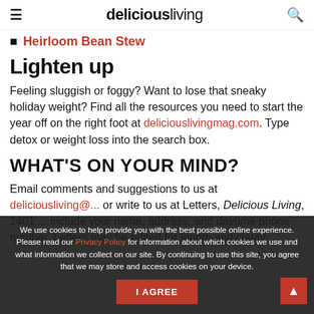≡   deliciousliving   🔍
Heirloom Bean Stew
Lighten up
Feeling sluggish or foggy? Want to lose that sneaky holiday weight? Find all the resources you need to start the year off on the right foot at deliciouslivingmag.com. Type detox or weight loss into the search box.
WHAT'S ON YOUR MIND?
Email comments and suggestions to us at deliciousliving@... or write to us at Letters, Delicious Living, 1401 ... include your name, address, and daytime phone number. Letters may be edited for length and clarity.
We use cookies to help provide you with the best possible online experience. Please read our Privacy Policy for information about which cookies we use and what information we collect on our site. By continuing to use this site, you agree that we may store and access cookies on your device.